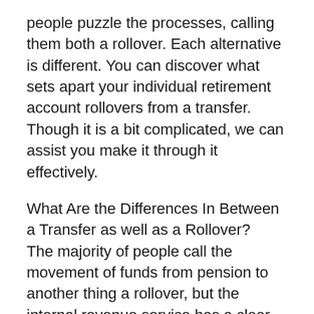people puzzle the processes, calling them both a rollover. Each alternative is different. You can discover what sets apart your individual retirement account rollovers from a transfer. Though it is a bit complicated, we can assist you make it through it effectively.
What Are the Differences In Between a Transfer as well as a Rollover?
The majority of people call the movement of funds from pension to another thing a rollover, but the internal revenue service has a clear interpretation of what a rollover as well as transfer are.
What is a gold IRA rollover? With this option, the cash you move is paid to you first and then you deposit it right into another